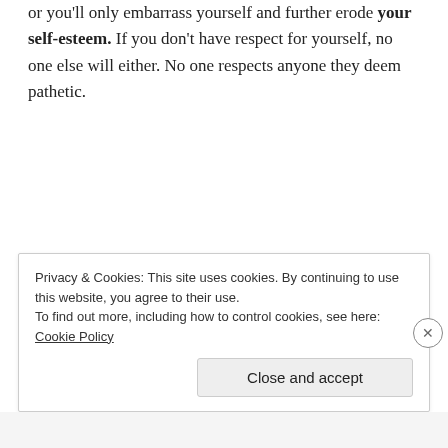or you'll only embarrass yourself and further erode your self-esteem. If you don't have respect for yourself, no one else will either. No one respects anyone they deem pathetic.
Privacy & Cookies: This site uses cookies. By continuing to use this website, you agree to their use.
To find out more, including how to control cookies, see here: Cookie Policy
Close and accept